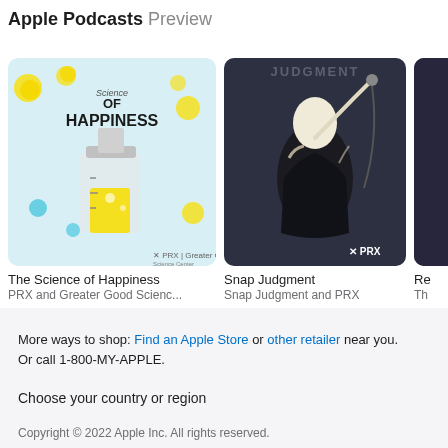Apple Podcasts Preview
[Figure (screenshot): Podcast artwork for 'The Science of Happiness' showing a beaker with yellow liquid and text 'Science of Happiness', PRX logo and Greater Good Science Center branding on a teal/yellow background]
The Science of Happiness
PRX and Greater Good Scienc...
[Figure (screenshot): Podcast artwork for 'Snap Judgment' showing a black and white silhouette of a person performing, with PRX logo, dark background with 'JUDGMENT' text at top]
Snap Judgment
Snap Judgment and PRX
[Figure (screenshot): Partial view of a third podcast artwork on the right edge, cut off]
Re...
Th...
More ways to shop: Find an Apple Store or other retailer near you. Or call 1-800-MY-APPLE.
Choose your country or region
Copyright © 2022 Apple Inc. All rights reserved.
Privacy Policy | Terms of Use | Sales and Refunds | Legal | Site Map